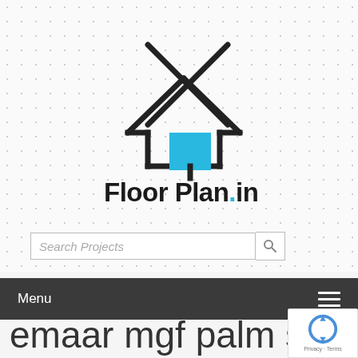[Figure (logo): FloorPlan.in logo: house outline with X cross over it and a blue square inside, plus the text FloorPlan.in below]
[Figure (screenshot): Search box with placeholder text 'Search Projects' and a search icon button]
Menu
emaar mgf palm studi